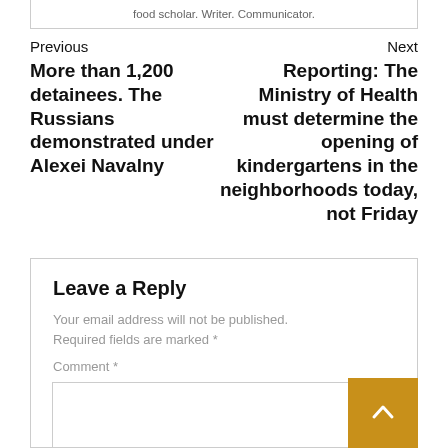food scholar. Writer. Communicator.
Previous
More than 1,200 detainees. The Russians demonstrated under Alexei Navalny
Next
Reporting: The Ministry of Health must determine the opening of kindergartens in the neighborhoods today, not Friday
Leave a Reply
Your email address will not be published. Required fields are marked *
Comment *